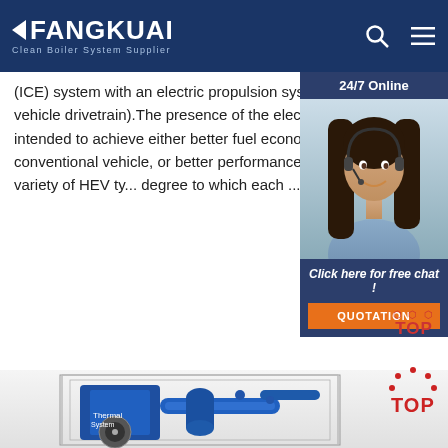FANGKUAI - Clean Boiler System Supplier
(ICE) system with an electric propulsion system (hybrid vehicle drivetrain).The presence of the electric powertrain is intended to achieve either better fuel economy than a conventional vehicle, or better performance. There is a variety of HEV ty... degree to which each ...
Get Price
[Figure (photo): Customer service representative with headset, 24/7 Online chat widget with QUOTATION button]
[Figure (photo): Industrial boiler/thermal system equipment in blue and grey metal, viewed at angle with wire frame structure]